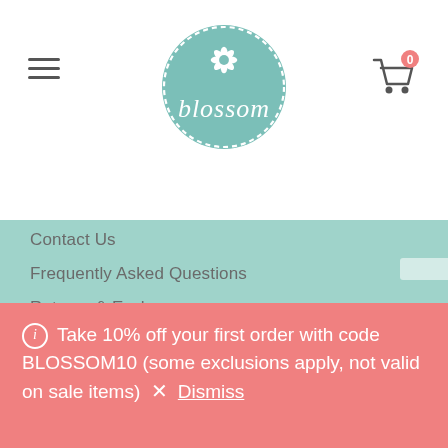[Figure (logo): Blossom brand logo — teal circle with dashed border containing white flower icon and cursive 'blossom' text]
Contact Us
Frequently Asked Questions
Returns & Exchanges
Backorders & Preorders Policy
Shipping
Sales & Promotions
ⓘ Take 10% off your first order with code BLOSSOM10 (some exclusions apply, not valid on sale items) × Dismiss